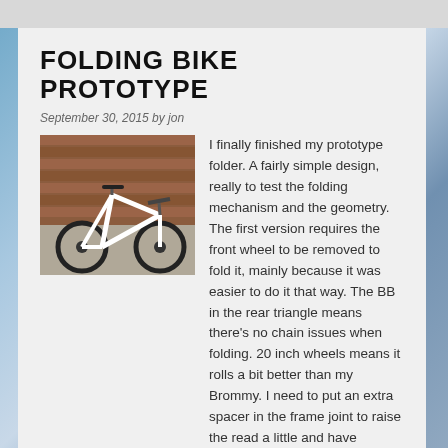FOLDING BIKE PROTOTYPE
September 30, 2015 by jon
[Figure (photo): A white-framed folding mountain bike prototype leaning against a brick wall outdoors, with black wheels and handlebars.]
I finally finished my prototype folder. A fairly simple design, really to test the folding mechanism and the geometry. The first version requires the front wheel to be removed to fold it, mainly because it was easier to do it that way. The BB in the rear triangle means there's no chain issues when folding. 20 inch wheels means it rolls a bit better than my Brommy. I need to put an extra spacer in the frame joint to raise the read a little and have changed the seatpost to one with less layback and